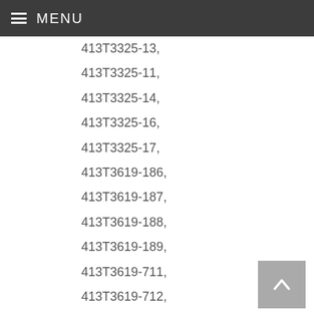MENU
413T3325-13,
413T3325-11,
413T3325-14,
413T3325-16,
413T3325-17,
413T3619-186,
413T3619-187,
413T3619-188,
413T3619-189,
413T3619-711,
413T3619-712,
413T3619-795,
413T3619-796,
413T3619-797,